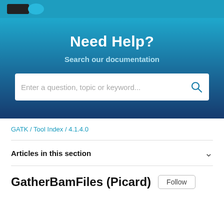[Figure (screenshot): Partial logo/icon visible at top — dark shape with teal accent]
Need Help?
Search our documentation
[Figure (screenshot): Search input box with placeholder text 'Enter a question, topic or keyword...' and a magnifying glass icon on the right]
GATK / Tool Index / 4.1.4.0
Articles in this section
GatherBamFiles (Picard)
Follow